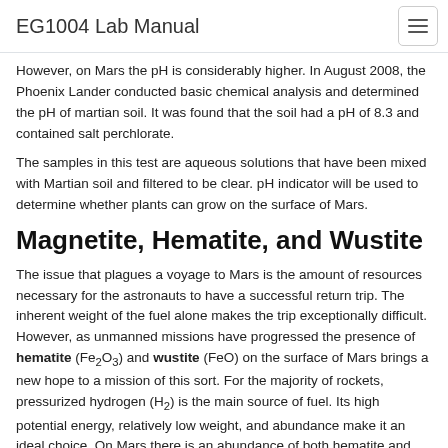EG1004 Lab Manual
However, on Mars the pH is considerably higher. In August 2008, the Phoenix Lander conducted basic chemical analysis and determined the pH of martian soil. It was found that the soil had a pH of 8.3 and contained salt perchlorate.
The samples in this test are aqueous solutions that have been mixed with Martian soil and filtered to be clear. pH indicator will be used to determine whether plants can grow on the surface of Mars.
Magnetite, Hematite, and Wustite
The issue that plagues a voyage to Mars is the amount of resources necessary for the astronauts to have a successful return trip. The inherent weight of the fuel alone makes the trip exceptionally difficult. However, as unmanned missions have progressed the presence of hematite (Fe2O3) and wustite (FeO) on the surface of Mars brings a new hope to a mission of this sort. For the majority of rockets, pressurized hydrogen (H2) is the main source of fuel. Its high potential energy, relatively low weight, and abundance make it an ideal choice. On Mars there is an abundance of both hematite and wustite. Hematite, a reddish black